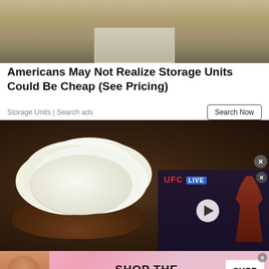[Figure (photo): Top portion of an outdoor structure or cabin with wooden frame on gravel ground]
Americans May Not Realize Storage Units Could Be Cheap (See Pricing)
Storage Units | Search ads
[Figure (photo): Kefir grains on a wooden spoon against a dark wood background, with a video overlay showing a UFC fighter with a play button]
[Figure (photo): Victoria's Secret advertisement banner showing a model, VS logo, SHOP THE COLLECTION text, and SHOP NOW button]